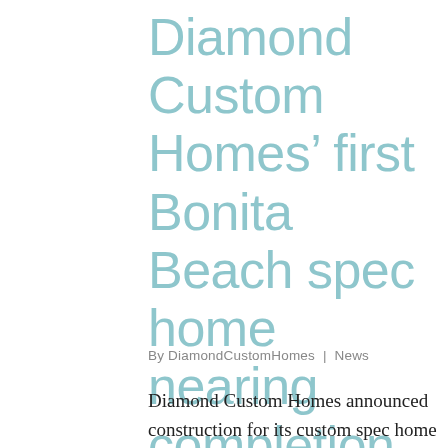Diamond Custom Homes’ first Bonita Beach spec home nearing completion
By DiamondCustomHomes | News
Diamond Custom Homes announced construction for its custom spec home at 26385 Hickory Boulevard on Bonita Beach is progressing on schedule with